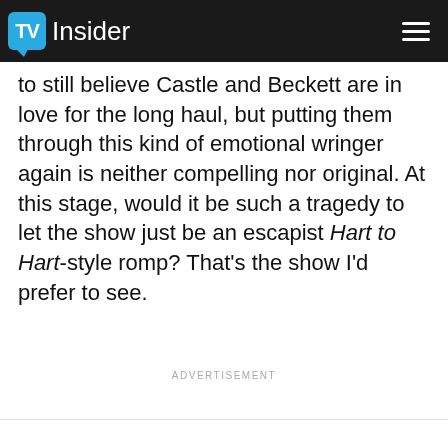TV Insider
to still believe Castle and Beckett are in love for the long haul, but putting them through this kind of emotional wringer again is neither compelling nor original. At this stage, would it be such a tragedy to let the show just be an escapist Hart to Hart-style romp? That's the show I'd prefer to see.
ADVERTISEMENT